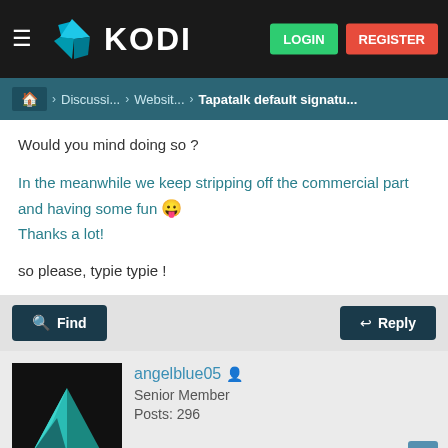[Figure (screenshot): Kodi forum website screenshot showing navigation header with Kodi logo, LOGIN and REGISTER buttons, breadcrumb navigation, forum post content, action buttons, and user profile section for angelblue05]
KODI — LOGIN REGISTER
Discussi... > Websit... > Tapatalk default signatu...
Would you mind doing so ?
In the meanwhile we keep stripping off the commercial part and having some fun 😛
Thanks a lot!

so please, typie typie !
Find    Reply
angelblue05
Senior Member
Posts: 296